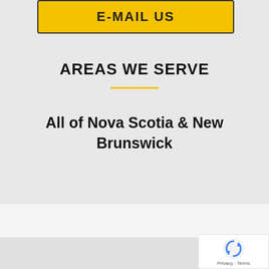[Figure (other): Yellow button partially visible at top with text 'E-MAIL US']
AREAS WE SERVE
All of Nova Scotia & New Brunswick